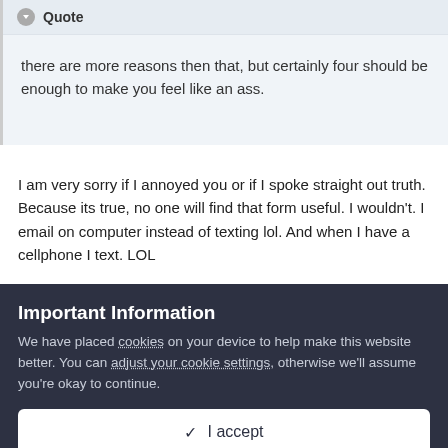Quote
there are more reasons then that, but certainly four should be enough to make you feel like an ass.
I am very sorry if I annoyed you or if I spoke straight out truth. Because its true, no one will find that form useful. I wouldn't. I email on computer instead of texting lol. And when I have a cellphone I text. LOL
Important Information
We have placed cookies on your device to help make this website better. You can adjust your cookie settings, otherwise we'll assume you're okay to continue.
✓ I accept